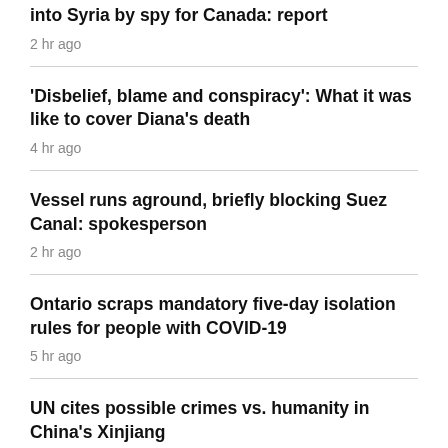into Syria by spy for Canada: report
2 hr ago
'Disbelief, blame and conspiracy': What it was like to cover Diana's death
4 hr ago
Vessel runs aground, briefly blocking Suez Canal: spokesperson
2 hr ago
Ontario scraps mandatory five-day isolation rules for people with COVID-19
5 hr ago
UN cites possible crimes vs. humanity in China's Xinjiang